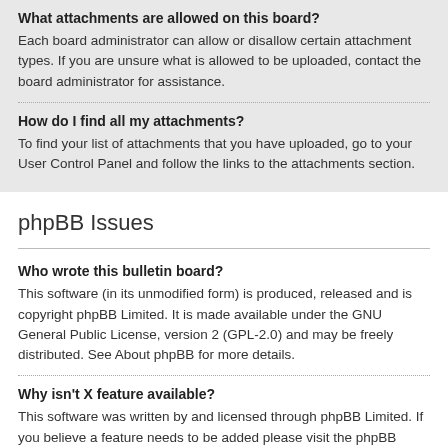What attachments are allowed on this board?
Each board administrator can allow or disallow certain attachment types. If you are unsure what is allowed to be uploaded, contact the board administrator for assistance.
How do I find all my attachments?
To find your list of attachments that you have uploaded, go to your User Control Panel and follow the links to the attachments section.
phpBB Issues
Who wrote this bulletin board?
This software (in its unmodified form) is produced, released and is copyright phpBB Limited. It is made available under the GNU General Public License, version 2 (GPL-2.0) and may be freely distributed. See About phpBB for more details.
Why isn't X feature available?
This software was written by and licensed through phpBB Limited. If you believe a feature needs to be added please visit the phpBB Ideas Centre, where you can upvote existing ideas or suggest new features.
Who do I contact about abusive and/or legal matters related to this